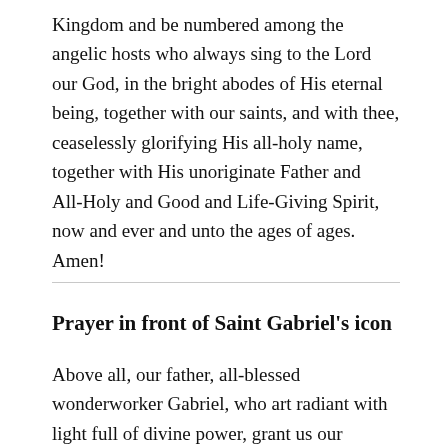Kingdom and be numbered among the angelic hosts who always sing to the Lord our God, in the bright abodes of His eternal being, together with our saints, and with thee, ceaselessly glorifying His all-holy name, together with His unoriginate Father and All-Holy and Good and Life-Giving Spirit, now and ever and unto the ages of ages. Amen!
Prayer in front of Saint Gabriel's icon
Above all, our father, all-blessed wonderworker Gabriel, who art radiant with light full of divine power, grant us our requests and give peace to those who with faith come to thy holy icon and kneel before